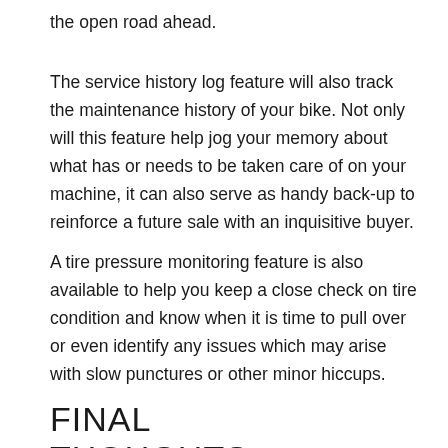the open road ahead.
The service history log feature will also track the maintenance history of your bike. Not only will this feature help jog your memory about what has or needs to be taken care of on your machine, it can also serve as handy back-up to reinforce a future sale with an inquisitive buyer.
A tire pressure monitoring feature is also available to help you keep a close check on tire condition and know when it is time to pull over or even identify any issues which may arise with slow punctures or other minor hiccups.
FINAL THOUGHTS